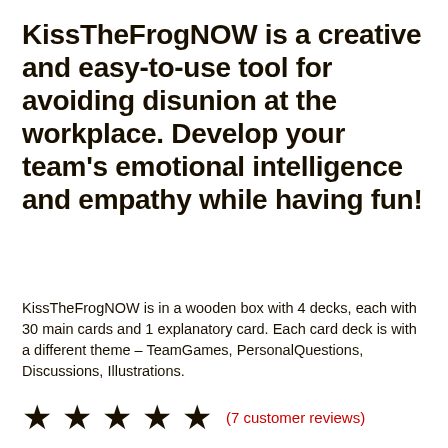KissTheFrogNOW is a creative and easy-to-use tool for avoiding disunion at the workplace. Develop your team's emotional intelligence and empathy while having fun!
KissTheFrogNOW is in a wooden box with 4 decks, each with 30 main cards and 1 explanatory card. Each card deck is with a different theme – TeamGames, PersonalQuestions, Discussions, Illustrations.
★ ★ ★ ★ ★ (7 customer reviews)